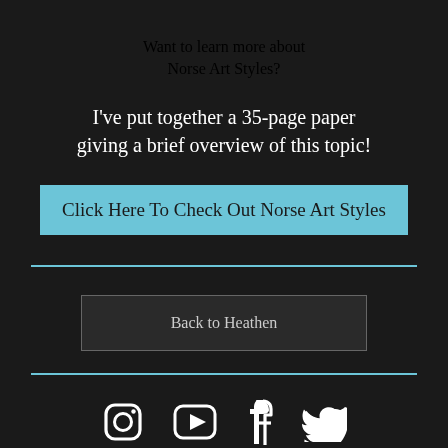Want to learn more about Norse Art Styles?
I've put together a 35-page paper giving a brief overview of this topic!
Click Here To Check Out Norse Art Styles
Back to Heathen
[Figure (infographic): Horizontal cyan divider line]
[Figure (infographic): Social media icons: Instagram, YouTube, Facebook, Twitter in white on dark background]
[Figure (infographic): Horizontal cyan divider line]